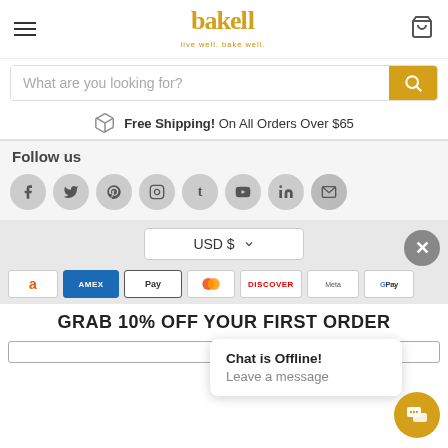[Figure (logo): Bakell logo — stylized yellow-gold text 'bakell' with a whisk, tagline 'live well. bake well.']
What are you looking for?
Free Shipping! On All Orders Over $65
Follow us
[Figure (other): Social media icons row: Facebook, Twitter, Pinterest, Instagram, Tumblr, YouTube, LinkedIn, Email]
USD $
[Figure (other): Payment method badges: Amazon, Amex, Apple Pay, Diners Club, Discover, Meta Pay, Google Pay]
GRAB 10% OFF YOUR FIRST ORDER
Chat is Offline!
Leave a message